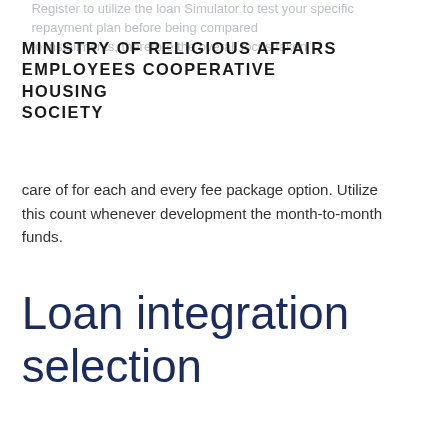MINISTRY OF RELIGIOUS AFFAIRS EMPLOYEES COOPERATIVE HOUSING SOCIETY
care of for each and every fee package option. Utilize this count whenever development the month-to-month funds.
Loan integration selection
Find out about federal financing integration to see if it will be the proper choice for you. In certain products, consolidation may possibly not be the most suitable choice.
Stay away from education loan credit card debt relief now offers and borrowing from the bank fix "deals"